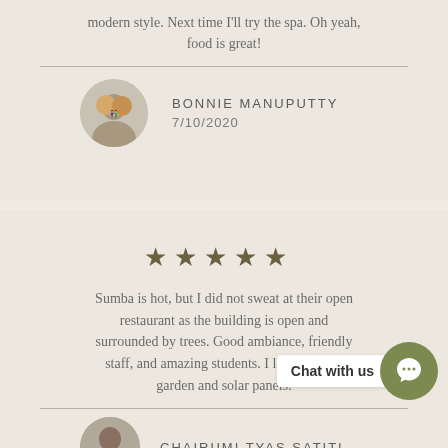modern style. Next time I'll try the spa. Oh yeah, food is great!
[Figure (photo): Circular avatar photo of two people (Bonnie Manuputty) smiling together]
BONNIE MANUPUTTY
7/10/2020
[Figure (other): Five gold/olive star rating icons]
Sumba is hot, but I did not sweat at their open restaurant as the building is open and surrounded by trees. Good ambiance, friendly staff, and amazing students. I l... garden and solar panels.
[Figure (photo): Circular avatar photo (partial, bottom) of reviewer Chairumi Tyas Satiti]
CHAIRUMI TYAS SATITI